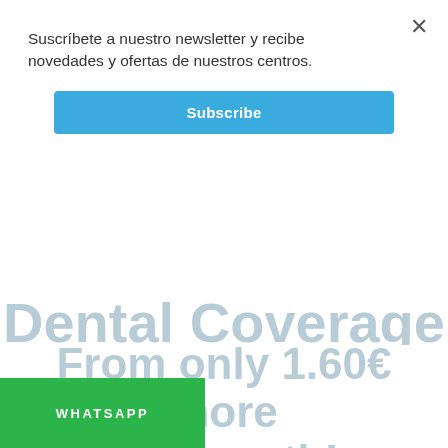Suscríbete a nuestro newsletter y recibe novedades y ofertas de nuestros centros.
Subscribe
Dental Coverage
From only 1.60€ more per month!
Check-up, oral hygiene, fluorisations and treatments for th sensitivity INCLUDED.
WHATSAPP